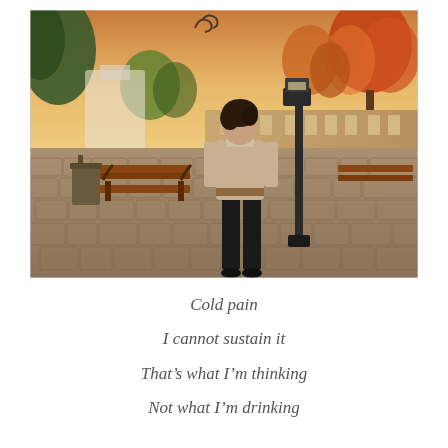[Figure (illustration): A 3D virtual world (Second Life style) screenshot showing a female avatar in a beige belted tunic and black trousers standing on a cobblestone plaza. There are park benches, a lamppost, autumn-colored trees, and a warm sunset sky in the background. The scene has a digital/game aesthetic.]
Cold pain
I cannot sustain it
That's what I'm thinking
Not what I'm drinking